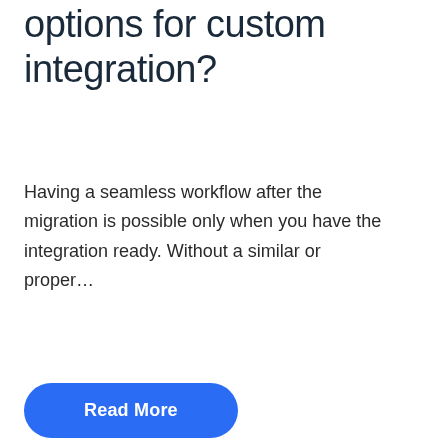options for custom integration?
Having a seamless workflow after the migration is possible only when you have the integration ready. Without a similar or proper…
Read More